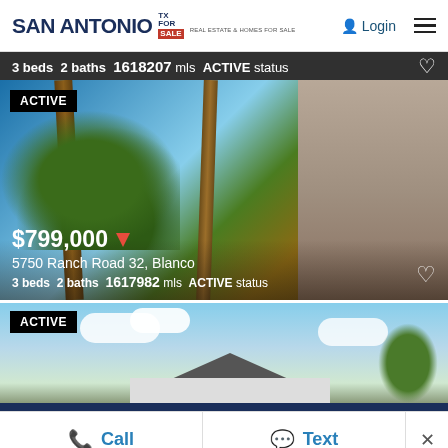SAN ANTONIO TX FOR SALE Real Estate & Homes For Sale | Login | Menu
3 beds  2 baths  1618207 mls  ACTIVE status
[Figure (photo): Outdoor covered patio with rustic wooden beams and stone fireplace, showing trees and blue sky. Active listing badge top left. Price $799,000, address 5750 Ranch Road 32, Blanco. 3 beds 2 baths 1617982 mls ACTIVE status.]
[Figure (photo): House exterior with blue sky and clouds. Active listing badge top left.]
Call   Text   ×